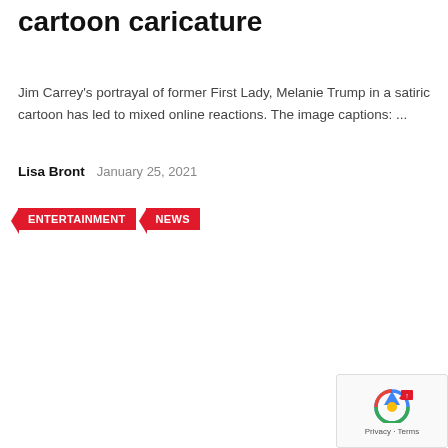cartoon caricature
Jim Carrey's portrayal of former First Lady, Melanie Trump in a satiric cartoon has led to mixed online reactions. The image captions: ...
Lisa Bront   January 25, 2021
ENTERTAINMENT   NEWS